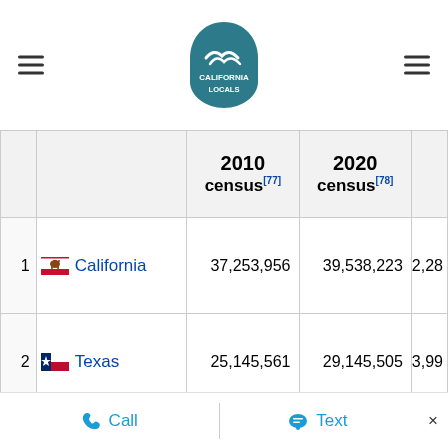California Locals
|  |  | 2010 census[77] | 2020 census[78] |  |
| --- | --- | --- | --- | --- |
| 1 | California | 37,253,956 | 39,538,223 | 2,28 |
| 2 | Texas | 25,145,561 | 29,145,505 | 3,99 |
| 3 | Florida | 18,801,310 | 21,538,187 | 2,73 |
| 4 | New York | 19,378,102 | 20,201,249 | 823 |
| 5 | Pennsylvania | 12,702,379 | 13,002,700 | 300 |
Call  Text  ×